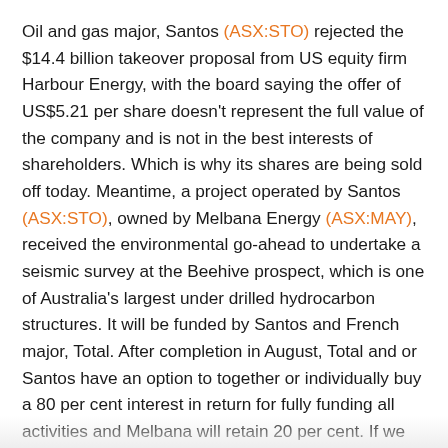Oil and gas major, Santos (ASX:STO) rejected the $14.4 billion takeover proposal from US equity firm Harbour Energy, with the board saying the offer of US$5.21 per share doesn't represent the full value of the company and is not in the best interests of shareholders. Which is why its shares are being sold off today. Meantime, a project operated by Santos (ASX:STO), owned by Melbana Energy (ASX:MAY), received the environmental go-ahead to undertake a seismic survey at the Beehive prospect, which is one of Australia's largest under drilled hydrocarbon structures. It will be funded by Santos and French major, Total. After completion in August, Total and or Santos have an option to together or individually buy a 80 per cent interest in return for fully funding all activities and Melbana will retain 20 per cent. If we look at Santos (ASX:STO) shares at noon, they are trading 9 per cent lower at $5.86. While shares in Melbana Energy (ASX:MAY) trades 30